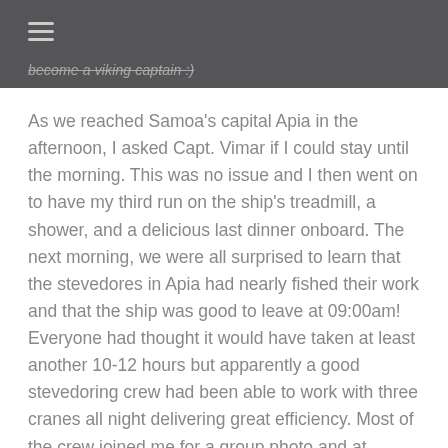≡
become a viking captain :)
As we reached Samoa's capital Apia in the afternoon, I asked Capt. Vimar if I could stay until the morning. This was no issue and I then went on to have my third run on the ship's treadmill, a shower, and a delicious last dinner onboard. The next morning, we were all surprised to learn that the stevedores in Apia had nearly fished their work and that the ship was good to leave at 09:00am! Everyone had thought it would have taken at least another 10-12 hours but apparently a good stevedoring crew had been able to work with three cranes all night delivering great efficiency. Most of the crew joined me for a group photo and at 09:00am customs came onboard, checked my luggage, and cleared me to enter Samoa: country no. 198 in an unbroken journey completely without flying.